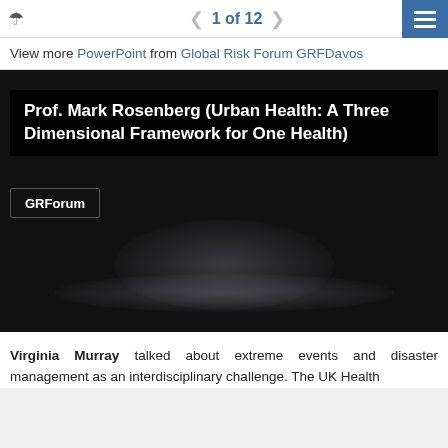1 of 12
View more PowerPoint from Global Risk Forum GRFDavos
[Figure (screenshot): Slide preview showing title 'Prof. Mark Rosenberg (Urban Health: A Three Dimensional Framework for One Health)' with GRForum badge on dark background]
Virginia Murray talked about extreme events and disaster management as an interdisciplinary challenge. The UK Health